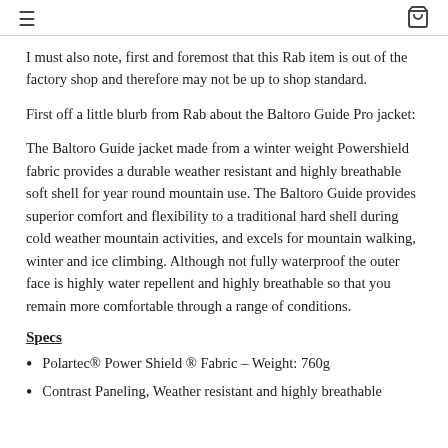≡  🛒
I must also note, first and foremost that this Rab item is out of the factory shop and therefore may not be up to shop standard.
First off a little blurb from Rab about the Baltoro Guide Pro jacket:
The Baltoro Guide jacket made from a winter weight Powershield fabric provides a durable weather resistant and highly breathable soft shell for year round mountain use. The Baltoro Guide provides superior comfort and flexibility to a traditional hard shell during cold weather mountain activities, and excels for mountain walking, winter and ice climbing. Although not fully waterproof the outer face is highly water repellent and highly breathable so that you remain more comfortable through a range of conditions.
Specs
Polartec® Power Shield ® Fabric – Weight: 760g
Contrast Paneling, Weather resistant and highly breathable